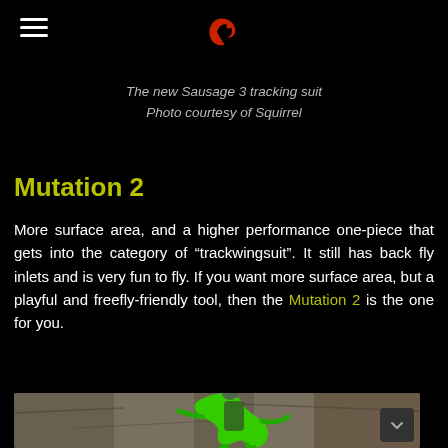The new Sausage 3 tracking suit
Photo courtesy of Squirrel
Mutation 2
More surface area, and a higher performance one-piece that gets into the category of “trackwingsuit”. It still has back fly inlets and is very fun to fly. If you want more surface area, but a playful and freefly-friendly tool, then the Mutation 2 is the one for you.
[Figure (photo): Person wearing a bright green tracking/wingsuit, flying over rocky terrain, photo courtesy of Squirrel]